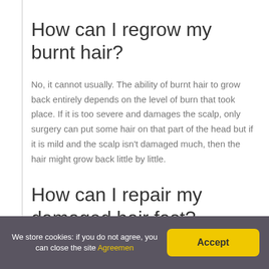How can I regrow my burnt hair?
No, it cannot usually. The ability of burnt hair to grow back entirely depends on the level of burn that took place. If it is too severe and damages the scalp, only surgery can put some hair on that part of the head but if it is mild and the scalp isn't damaged much, then the hair might grow back little by little.
How can I repair my damaged hair fast?
We store cookies: if you do not agree, you can close the site Agreemen